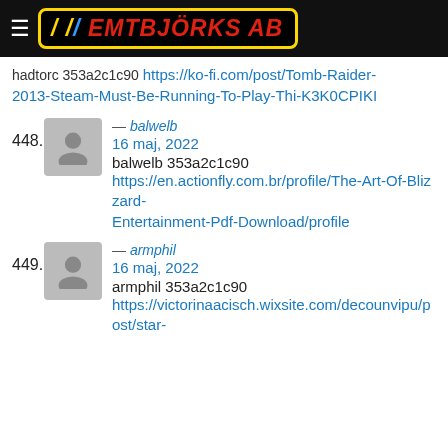EMTBJÖRKS AB
hadtorc 353a2c1c90 https://ko-fi.com/post/Tomb-Raider-2013-Steam-Must-Be-Running-To-Play-Thi-K3K0CPIKI
448. balwelb — 16 maj, 2022
balwelb 353a2c1c90
https://en.actionfly.com.br/profile/The-Art-Of-Blizzard-Entertainment-Pdf-Download/profile
449. armphil — 16 maj, 2022
armphil 353a2c1c90
https://victorinaacisch.wixsite.com/decounvipu/post/star-